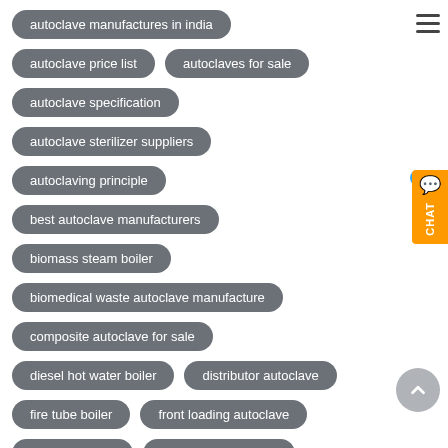autoclave manufactures in india
autoclave price list
autoclaves for sale
autoclave specification
autoclave sterilizer suppliers
autoclaving principle
best autoclave manufacturers
biomass steam boiler
biomedical waste autoclave manufacture
composite autoclave for sale
diesel hot water boiler
distributor autoclave
fire tube boiler
front loading autoclave
gas fired boiler
horizontal autoclave